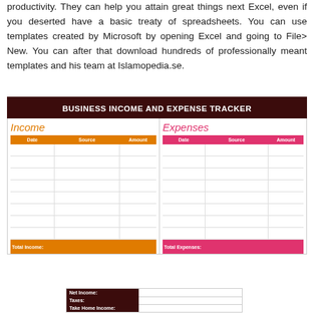productivity. They can help you attain great things next Excel, even if you deserted have a basic treaty of spreadsheets. You can use templates created by Microsoft by opening Excel and going to File> New. You can after that download hundreds of professionally meant templates and his team at Islamopedia.se.
BUSINESS INCOME AND EXPENSE TRACKER
| Date | Source | Amount |
| --- | --- | --- |
|  |  |  |
|  |  |  |
|  |  |  |
|  |  |  |
|  |  |  |
|  |  |  |
|  |  |  |
|  |  |  |
| Total Income: |  |  |
| Date | Source | Amount |
| --- | --- | --- |
|  |  |  |
|  |  |  |
|  |  |  |
|  |  |  |
|  |  |  |
|  |  |  |
|  |  |  |
|  |  |  |
| Total Expenses: |  |  |
|  |  |
| --- | --- |
| Net Income: |  |
| Taxes: |  |
| Take Home Income: |  |